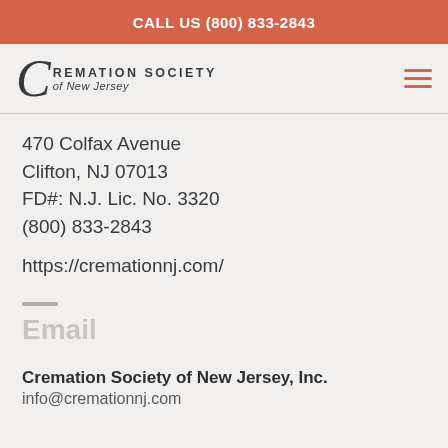CALL US (800) 833-2843
[Figure (logo): Cremation Society of New Jersey logo with stylized C and text]
470 Colfax Avenue
Clifton, NJ 07013
FD#: N.J. Lic. No. 3320
(800) 833-2843
https://cremationnj.com/
Email
Cremation Society of New Jersey, Inc.
info@cremationnj.com